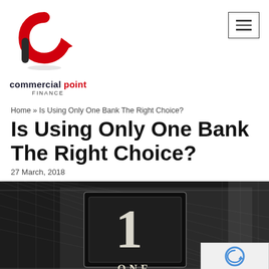[Figure (logo): Commercial Point Finance logo — red circular arrow icon above text reading 'commercial point FINANCE']
Home » Is Using Only One Bank The Right Choice?
Is Using Only One Bank The Right Choice?
27 March, 2018
[Figure (photo): Close-up black and white photo of a US one dollar bill showing the numeral '1' and intricate engraving detail]